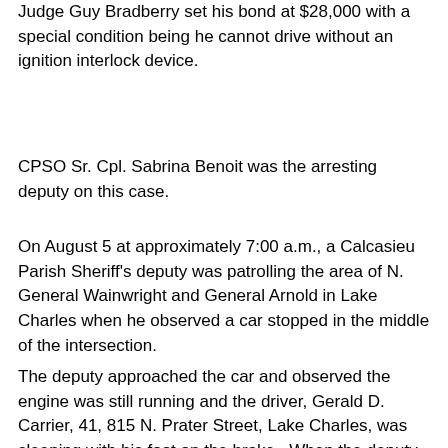Judge Guy Bradberry set his bond at $28,000 with a special condition being he cannot drive without an ignition interlock device.
CPSO Sr. Cpl. Sabrina Benoit was the arresting deputy on this case.
On August 5 at approximately 7:00 a.m., a Calcasieu Parish Sheriff's deputy was patrolling the area of N. General Wainwright and General Arnold in Lake Charles when he observed a car stopped in the middle of the intersection.
The deputy approached the car and observed the engine was still running and the driver, Gerald D. Carrier, 41, 815 N. Prater Street, Lake Charles, was sleeping with his foot on the brake.  When the deputy spoke with Carrier outside of his car, he detected an odor of alcohol emitting from him among along with...